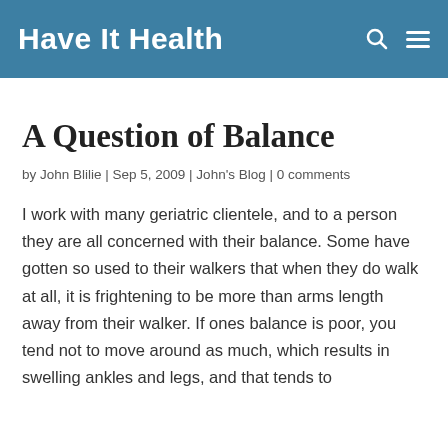Have It Health
A Question of Balance
by John Blilie | Sep 5, 2009 | John's Blog | 0 comments
I work with many geriatric clientele, and to a person they are all concerned with their balance. Some have gotten so used to their walkers that when they do walk at all, it is frightening to be more than arms length away from their walker. If ones balance is poor, you tend not to move around as much, which results in swelling ankles and legs, and that tends to